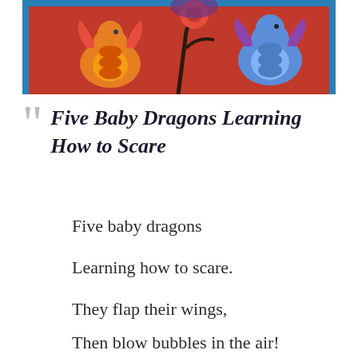[Figure (illustration): Colorful illustrated book cover showing baby dragons in orange, yellow, and blue on a red background with a blue border]
Five Baby Dragons Learning How to Scare
Five baby dragons
Learning how to scare.
They flap their wings,
Then blow bubbles in the air!